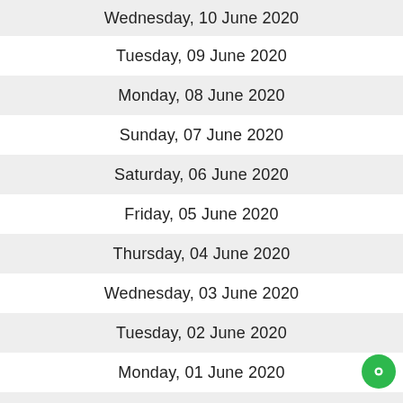Wednesday, 10 June 2020
Tuesday, 09 June 2020
Monday, 08 June 2020
Sunday, 07 June 2020
Saturday, 06 June 2020
Friday, 05 June 2020
Thursday, 04 June 2020
Wednesday, 03 June 2020
Tuesday, 02 June 2020
Monday, 01 June 2020